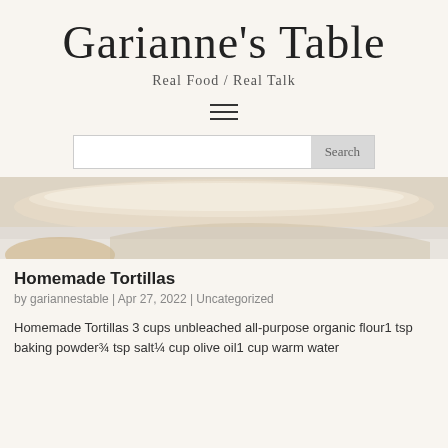Garianne's Table
Real Food / Real Talk
[Figure (other): Hamburger menu icon with three horizontal lines]
[Figure (other): Search bar with text input field and Search button]
[Figure (photo): Close-up photo of homemade tortillas on a white cloth surface]
Homemade Tortillas
by gariannestable | Apr 27, 2022 | Uncategorized
Homemade Tortillas 3 cups unbleached all-purpose organic flour1 tsp baking powder¾ tsp salt¼ cup olive oil1 cup warm water